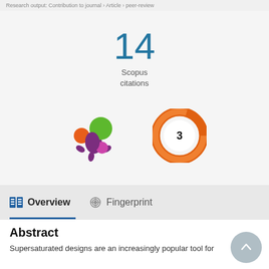Research output: Contribution to journal › Article › peer-review
14
Scopus
citations
[Figure (logo): Altmetric logo — purple splash with orange, green, and pink circles]
[Figure (donut-chart): Orange donut badge with the number 3 in the center]
Overview
Fingerprint
Abstract
Supersaturated designs are an increasingly popular tool for